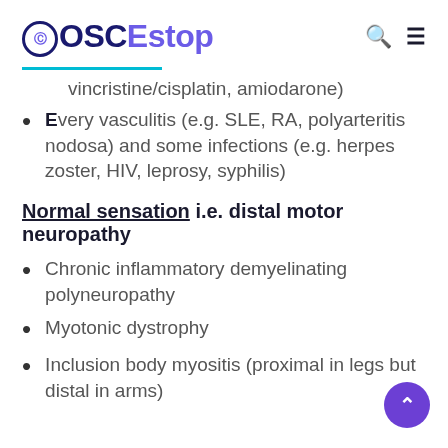OSCEstop
vincristine/cisplatin, amiodarone)
Every vasculitis (e.g. SLE, RA, polyarteritis nodosa) and some infections (e.g. herpes zoster, HIV, leprosy, syphilis)
Normal sensation i.e. distal motor neuropathy
Chronic inflammatory demyelinating polyneuropathy
Myotonic dystrophy
Inclusion body myositis (proximal in legs but distal in arms)